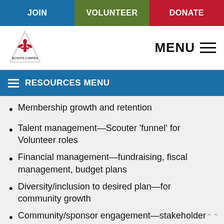JOIN | VOLUNTEER | DONATE
[Figure (logo): Scouts Canada triangular logo with fleur-de-lis and text SCOUTS CANADA]
RESOURCES MENU
Membership growth and retention
Talent management—Scouter 'funnel' for Volunteer roles
Financial management—fundraising, fiscal management, budget plans
Diversity/inclusion to desired plan—for community growth
Community/sponsor engagement—stakeholder management and engagement